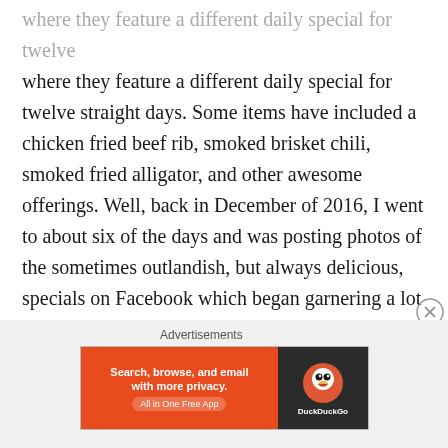where they feature a different daily special for twelve straight days. Some items have included a chicken fried beef rib, smoked brisket chili, smoked fried alligator, and other awesome offerings. Well, back in December of 2016, I went to about six of the days and was posting photos of the sometimes outlandish, but always delicious, specials on Facebook which began garnering a lot of positive attention (and likes) from my friends. It was at this moment that I decided I should try out that Instagram thing, so in January of 2017 ATXFoodGuy was born!
Advertisements
[Figure (other): DuckDuckGo advertisement banner: orange section with text 'Search, browse, and email with more privacy. All in One Free App' and dark section with DuckDuckGo logo]